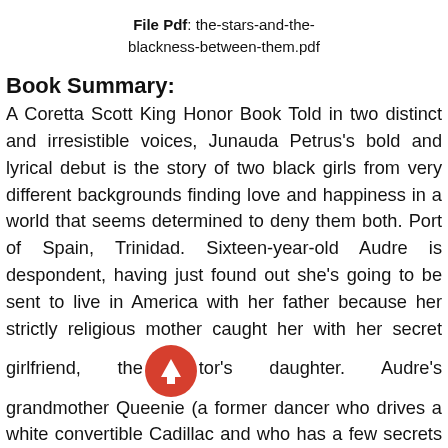File Pdf: the-stars-and-the-blackness-between-them.pdf
Book Summary:
A Coretta Scott King Honor Book Told in two distinct and irresistible voices, Junauda Petrus's bold and lyrical debut is the story of two black girls from very different backgrounds finding love and happiness in a world that seems determined to deny them both. Port of Spain, Trinidad. Sixteen-year-old Audre is despondent, having just found out she's going to be sent to live in America with her father because her strictly religious mother caught her with her secret girlfriend, the pastor's daughter. Audre's grandmother Queenie (a former dancer who drives a white convertible Cadillac and who has a few secrets of her own) tries to reassure her granddaughter that she won't lose her roots, not even in